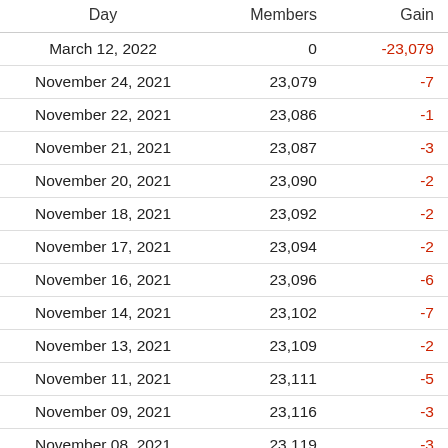| Day | Members | Gain |
| --- | --- | --- |
| March 12, 2022 | 0 | -23,079 |
| November 24, 2021 | 23,079 | -7 |
| November 22, 2021 | 23,086 | -1 |
| November 21, 2021 | 23,087 | -3 |
| November 20, 2021 | 23,090 | -2 |
| November 18, 2021 | 23,092 | -2 |
| November 17, 2021 | 23,094 | -2 |
| November 16, 2021 | 23,096 | -6 |
| November 14, 2021 | 23,102 | -7 |
| November 13, 2021 | 23,109 | -2 |
| November 11, 2021 | 23,111 | -5 |
| November 09, 2021 | 23,116 | -3 |
| November 08, 2021 | 23,119 | -3 |
| November 07, 2021 | 23,122 | ... |